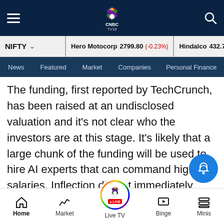CNBC TV18 - Navigation bar with hamburger menu, CNBC TV18 logo, and search icon
NIFTY | Hero Motocorp 2799.80 (-0.23%) | Hindalco 432.75 (0.91%)
News | Featured | Market | Companies | Personal Finance
The funding, first reported by TechCrunch, has been raised at an undisclosed valuation and it’s not clear who the investors are at this stage. It’s likely that a large chunk of the funding will be used to hire AI experts that can command high salaries. Inflection did not immediately respond to a CNBC request for comment
Home | Market | Live TV | Binge | Minis